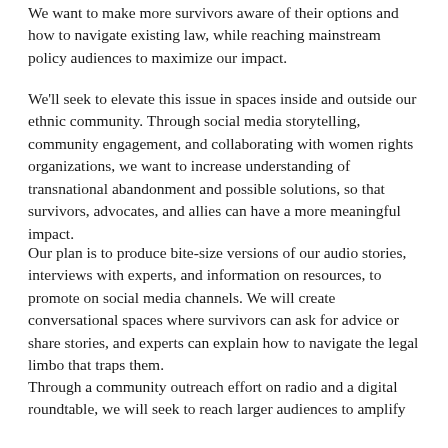We want to make more survivors aware of their options and how to navigate existing law, while reaching mainstream policy audiences to maximize our impact.
We'll seek to elevate this issue in spaces inside and outside our ethnic community. Through social media storytelling, community engagement, and collaborating with women rights organizations, we want to increase understanding of transnational abandonment and possible solutions, so that survivors, advocates, and allies can have a more meaningful impact.
Our plan is to produce bite-size versions of our audio stories, interviews with experts, and information on resources, to promote on social media channels. We will create conversational spaces where survivors can ask for advice or share stories, and experts can explain how to navigate the legal limbo that traps them.
Through a community outreach effort on radio and a digital roundtable, we will seek to reach larger audiences to amplify information and awareness. We will also pursue special...